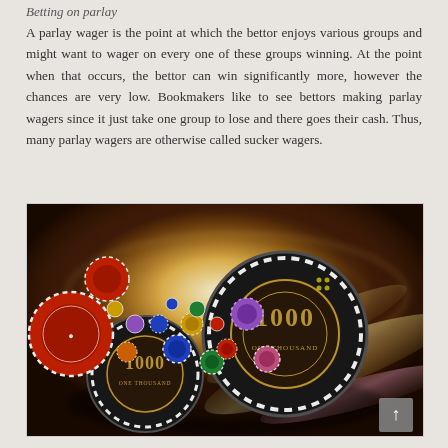Betting on parlay
A parlay wager is the point at which the bettor enjoys various groups and might want to wager on every one of these groups winning. At the point when that occurs, the bettor can win significantly more, however the chances are very low. Bookmakers like to see bettors making parlay wagers since it just take one group to lose and there goes their cash. Thus, many parlay wagers are otherwise called sucker wagers.
[Figure (photo): Casino chips including large black 1000-value chips and various colorful smaller chips scattered on a roulette table with bright light glare in the background.]